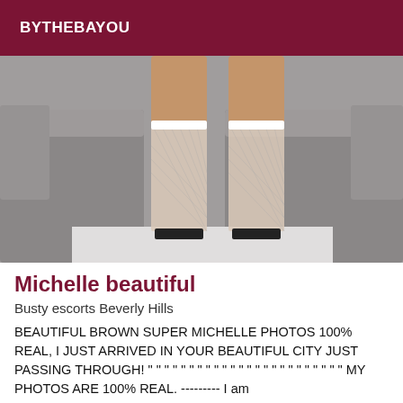BYTHEBAYOU
[Figure (photo): Photo showing legs in white fishnet stockings and heels, posed in front of a grey sectional sofa]
Michelle beautiful
Busty escorts Beverly Hills
BEAUTIFUL BROWN SUPER MICHELLE PHOTOS 100% REAL, I JUST ARRIVED IN YOUR BEAUTIFUL CITY JUST PASSING THROUGH! " " " " " " " " " " " " " " " " " " " " " " MY PHOTOS ARE 100% REAL. --------- I am